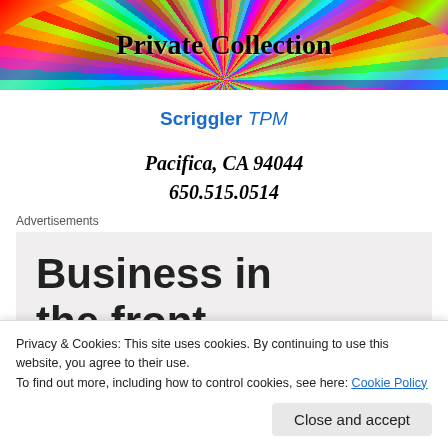[Figure (illustration): Colorful rainbow burst banner with text 'Private Collection' in bold serif font over multicolored rays]
Scriggler TPM
Pacifica, CA 94044
650.515.0514
Advertisements
Business in the front...
Privacy & Cookies: This site uses cookies. By continuing to use this website, you agree to their use.
To find out more, including how to control cookies, see here: Cookie Policy